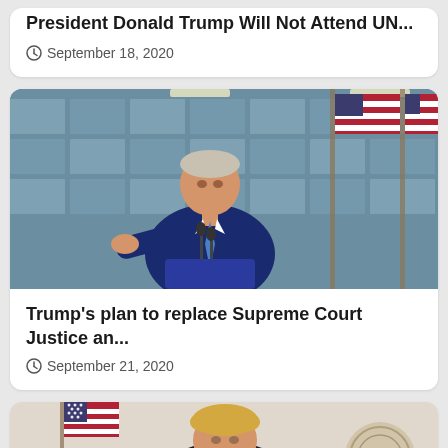President Donald Trump Will Not Attend UN...
September 18, 2020
[Figure (photo): Man in blue suit with blue tie speaking at a podium with American flags in the background]
Trump's plan to replace Supreme Court Justice an...
September 21, 2020
[Figure (photo): Man in dark suit standing at podium with American flags and presidential seal]